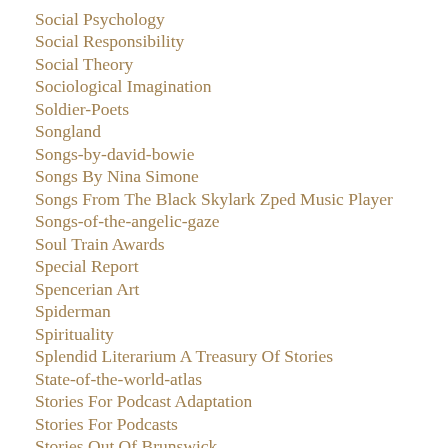Social Psychology
Social Responsibility
Social Theory
Sociological Imagination
Soldier-Poets
Songland
Songs-by-david-bowie
Songs By Nina Simone
Songs From The Black Skylark Zped Music Player
Songs-of-the-angelic-gaze
Soul Train Awards
Special Report
Spencerian Art
Spiderman
Spirituality
Splendid Literarium A Treasury Of Stories
State-of-the-world-atlas
Stories For Podcast Adaptation
Stories For Podcasts
Stories Out Of Brunswick
Stories Out Of Georgia